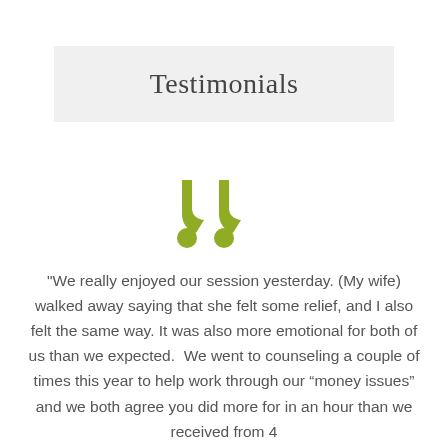Testimonials
[Figure (illustration): Large olive/yellow-green closing double quotation mark icon]
"We really enjoyed our session yesterday. (My wife) walked away saying that she felt some relief, and I also felt the same way. It was also more emotional for both of us than we expected.  We went to counseling a couple of times this year to help work through our “money issues” and we both agree you did more for in an hour than we received from 4